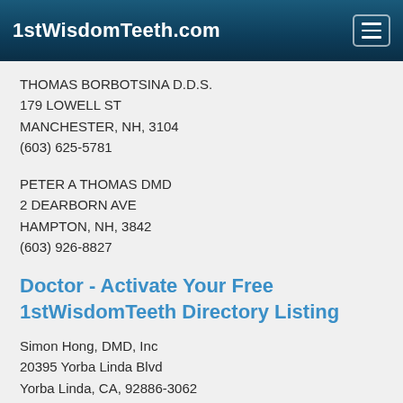1stWisdomTeeth.com
THOMAS BORBOTSINA D.D.S.
179 LOWELL ST
MANCHESTER, NH, 3104
(603) 625-5781
PETER A THOMAS DMD
2 DEARBORN AVE
HAMPTON, NH, 3842
(603) 926-8827
Doctor - Activate Your Free 1stWisdomTeeth Directory Listing
Simon Hong, DMD, Inc
20395 Yorba Linda Blvd
Yorba Linda, CA, 92886-3062
MICHAEL GORDAN  D.D.S.
4155 FERNCREEK DR STE 101
FAYETTEVILLE, NC, 28314
(910) 868-8808